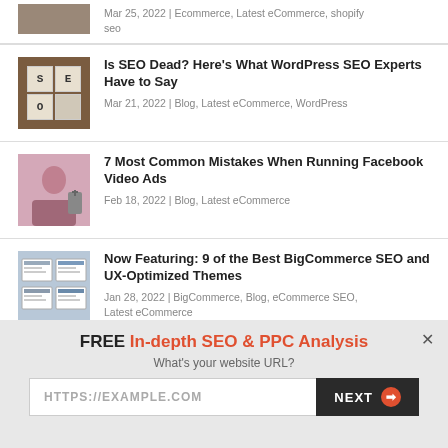Mar 25, 2022 | Ecommerce, Latest eCommerce, shopify seo
Is SEO Dead? Here's What WordPress SEO Experts Have to Say
Mar 21, 2022 | Blog, Latest eCommerce, WordPress
7 Most Common Mistakes When Running Facebook Video Ads
Feb 18, 2022 | Blog, Latest eCommerce
Now Featuring: 9 of the Best BigCommerce SEO and UX-Optimized Themes
Jan 28, 2022 | BigCommerce, Blog, eCommerce SEO, Latest eCommerce
FREE In-depth SEO & PPC Analysis
What's your website URL?
HTTPS://EXAMPLE.COM
NEXT